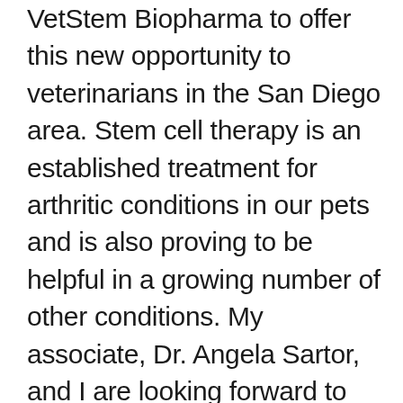VetStem Biopharma to offer this new opportunity to veterinarians in the San Diego area. Stem cell therapy is an established treatment for arthritic conditions in our pets and is also proving to be helpful in a growing number of other conditions. My associate, Dr. Angela Sartor, and I are looking forward to working with our veterinary colleagues to enhance the opportunity for stem cell treatments in their patients. This will mean a more comfortable and better quality of life for so many more of our beloved pets!" stated Dr Holly Mullen, Head of Surgery at VCA Emergency Animal Hospital & Referral Center.